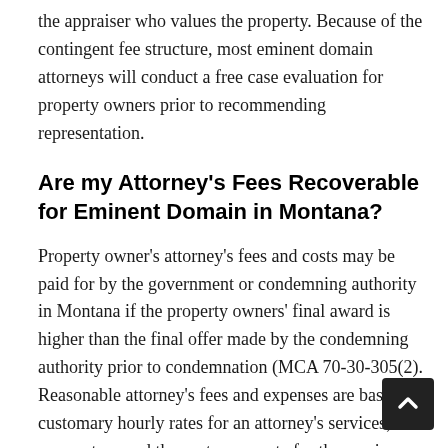the appraiser who values the property. Because of the contingent fee structure, most eminent domain attorneys will conduct a free case evaluation for property owners prior to recommending representation.
Are my Attorney's Fees Recoverable for Eminent Domain in Montana?
Property owner's attorney's fees and costs may be paid for by the government or condemning authority in Montana if the property owners' final award is higher than the final offer made by the condemning authority prior to condemnation (MCA 70-30-305(2). Reasonable attorney's fees and expenses are based on customary hourly rates for an attorney's services, and may not exceed the customary rate for the services that an expert witness in the same county may provide (MCA 70-30-306). Also, attorneys fees and costs could be recoverable